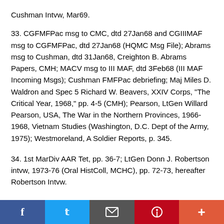Cushman Intvw, Mar69.
33. CGFMFPac msg to CMC, dtd 27Jan68 and CGIIIMAF msg to CGFMFPac, dtd 27Jan68 (HQMC Msg File); Abrams msg to Cushman, dtd 31Jan68, Creighton B. Abrams Papers, CMH; MACV msg to III MAF, dtd 3Feb68 (III MAF Incoming Msgs); Cushman FMFPac debriefing; Maj Miles D. Waldron and Spec 5 Richard W. Beavers, XXIV Corps, "The Critical Year, 1968," pp. 4-5 (CMH); Pearson, LtGen Willard Pearson, USA, The War in the Northern Provinces, 1966-1968, Vietnam Studies (Washington, D.C. Dept of the Army, 1975); Westmoreland, A Soldier Reports, p. 345.
34. 1st MarDiv AAR Tet, pp. 36-7; LtGen Donn J. Robertson intvw, 1973-76 (Oral HistColl, MCHC), pp. 72-73, hereafter Robertson Intvw.